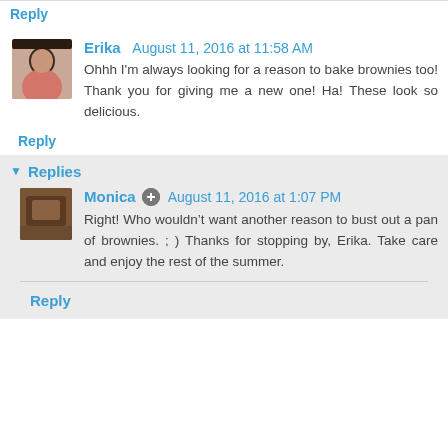Reply
Erika  August 11, 2016 at 11:58 AM
Ohhh I'm always looking for a reason to bake brownies too! Thank you for giving me a new one! Ha! These look so delicious.
Reply
Replies
Monica  August 11, 2016 at 1:07 PM
Right! Who wouldn’t want another reason to bust out a pan of brownies. ; ) Thanks for stopping by, Erika. Take care and enjoy the rest of the summer.
Reply